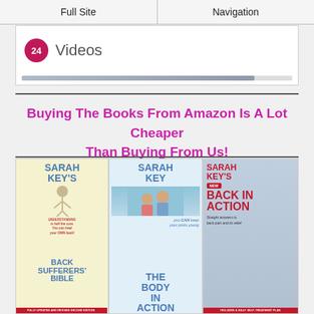Full Site | Navigation
[Figure (screenshot): Videos banner with circular badge showing '24' in dark pink and the word 'Videos' in grey, with a progress bar below]
Buying The Books From Amazon Is A Lot Cheaper Than Buying From Us!
[Figure (illustration): Three Sarah Key book covers side by side: 'Sarah Key's Back Sufferers' Bible - Fully Updated and Revised Second Edition', 'Sarah Key The Body in Action - you CAN keep your joints young', and 'Sarah Key's New Back in Action - Straight answers to back pain and its relief - Includes a daily self-treatment plan']